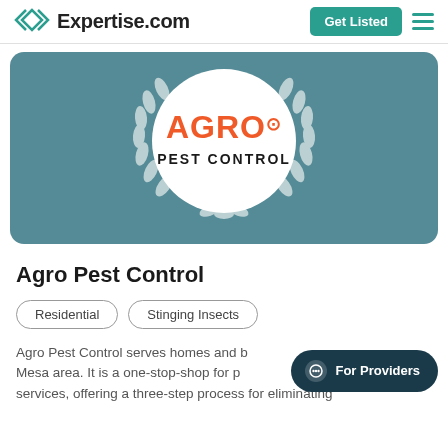Expertise.com
[Figure (logo): Agro Pest Control company logo on teal background with laurel wreath]
Agro Pest Control
Residential
Stinging Insects
Agro Pest Control serves homes and b[usinesses in the] Mesa area. It is a one-stop-shop for p[est control] services, offering a three-step process for eliminating